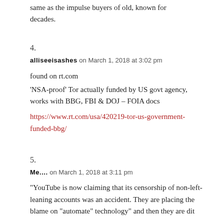same as the impulse buyers of old, known for decades.
4.
alliseeisashes on March 1, 2018 at 3:02 pm
found on rt.com
'NSA-proof' Tor actually funded by US govt agency, works with BBG, FBI & DOJ – FOIA docs
https://www.rt.com/usa/420219-tor-us-government-funded-bbg/
5.
Me.... on March 1, 2018 at 3:11 pm
“YouTube is now claiming that its censorship of non-left-leaning accounts was an accident. They are placing the blame on “automate” technology” and then they are dit